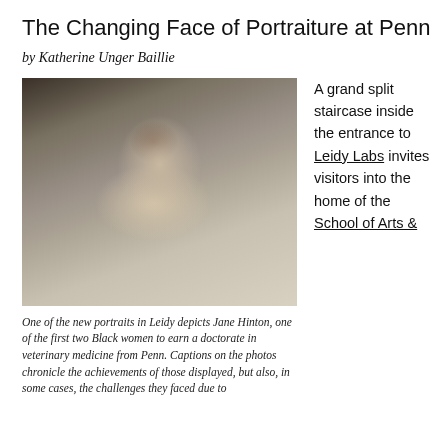The Changing Face of Portraiture at Penn
by Katherine Unger Baillie
[Figure (photo): Black and white portrait photograph of Jane Hinton, a Black woman wearing glasses and a light-colored collared top, displayed in a frame hung on a wall.]
One of the new portraits in Leidy depicts Jane Hinton, one of the first two Black women to earn a doctorate in veterinary medicine from Penn. Captions on the photos chronicle the achievements of those displayed, but also, in some cases, the challenges they faced due to
A grand split staircase inside the entrance to Leidy Labs invites visitors into the home of the School of Arts &